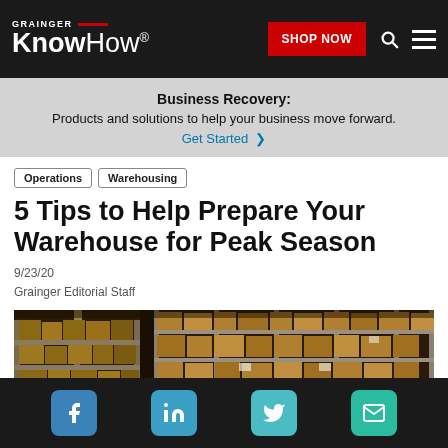GRAINGER KnowHow® — SHOP NOW
Business Recovery: Products and solutions to help your business move forward. Get Started >
Operations   Warehousing
5 Tips to Help Prepare Your Warehouse for Peak Season
9/23/20
Grainger Editorial Staff
[Figure (photo): Interior of a warehouse with tall metal shelving racks stacked with cardboard boxes]
Social icons: Facebook, LinkedIn, Twitter, Email